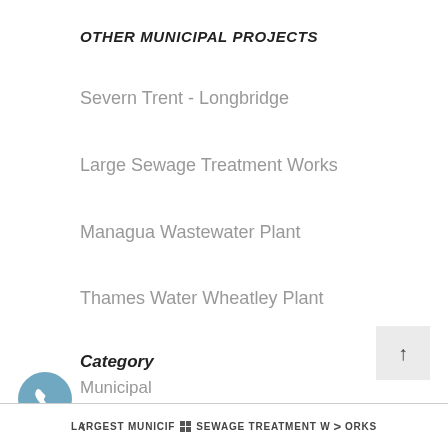OTHER MUNICIPAL PROJECTS
Severn Trent - Longbridge
Large Sewage Treatment Works
Managua Wastewater Plant
Thames Water Wheatley Plant
Category
Municipal
< LARGEST MUNICIPAL SEWAGE TREATMENT WORKS